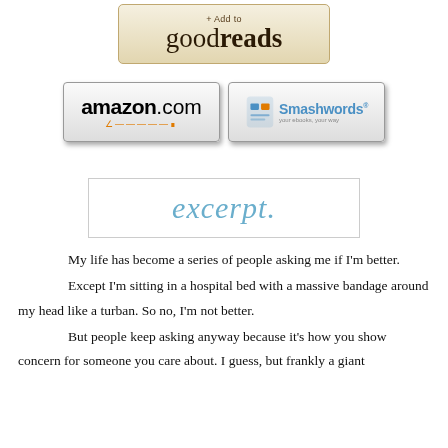[Figure (logo): Goodreads '+ Add to goodreads' button with beige/cream background]
[Figure (logo): Amazon.com button and Smashwords button side by side]
[Figure (other): Excerpt banner in cursive blue text on white bordered box]
My life has become a series of people asking me if I'm better.
Except I'm sitting in a hospital bed with a massive bandage around my head like a turban. So no, I'm not better.
But people keep asking anyway because it's how you show concern for someone you care about. I guess, but frankly a giant